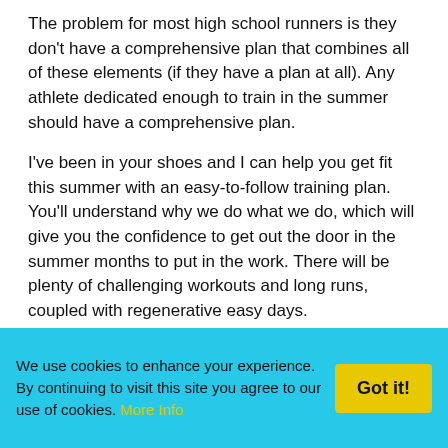The problem for most high school runners is they don't have a comprehensive plan that combines all of these elements (if they have a plan at all). Any athlete dedicated enough to train in the summer should have a comprehensive plan.
I've been in your shoes and I can help you get fit this summer with an easy-to-follow training plan. You'll understand why we do what we do, which will give you the confidence to get out the door in the summer months to put in the work. There will be plenty of challenging workouts and long runs, coupled with regenerative easy days.
Here's how it works. You enroll for my coaching.
We use cookies to enhance your experience. By continuing to visit this site you agree to our use of cookies. More Info